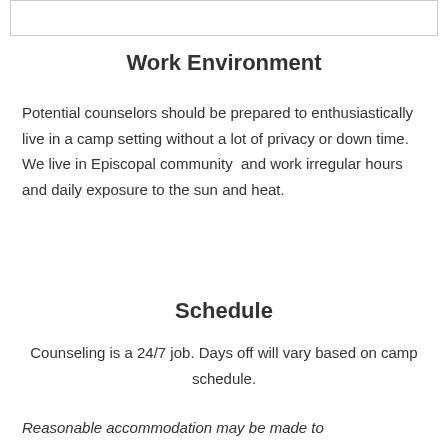Work Environment
Potential counselors should be prepared to enthusiastically live in a camp setting without a lot of privacy or down time. We live in Episcopal community  and work irregular hours and daily exposure to the sun and heat.
Schedule
Counseling is a 24/7 job. Days off will vary based on camp schedule.
Reasonable accommodation may be made to